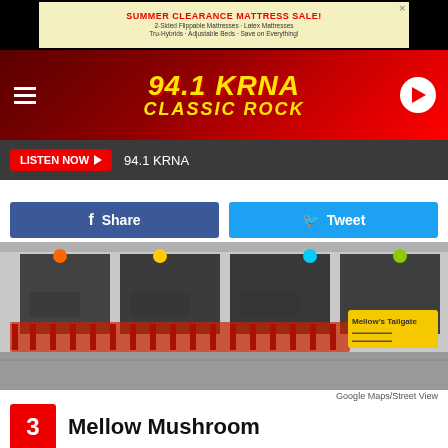[Figure (screenshot): Summer Clearance Mattress Sale advertisement banner with yellow background]
[Figure (logo): 94.1 KRNA Classic Rock radio station header with red gradient background, hamburger menu, and play button]
LISTEN NOW  94.1 KRNA
[Figure (screenshot): Facebook Share and Twitter Tweet social sharing buttons]
[Figure (photo): Street view photo of Mellow Mushroom restaurant exterior with red outdoor seating and Mellow's Tailgate sign]
Google Maps/Street View
3  Mellow Mushroom